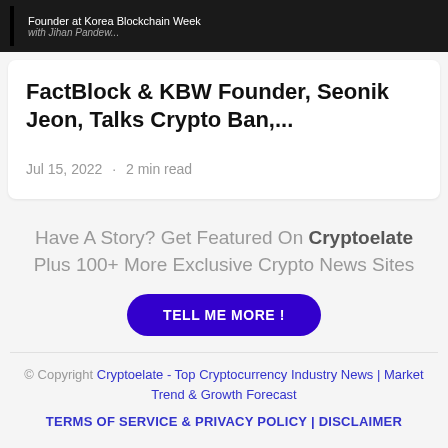[Figure (photo): Black and white image header showing text 'Founder at Korea Blockchain Week' with partial handwritten text below]
FactBlock & KBW Founder, Seonik Jeon, Talks Crypto Ban,...
Jul 15, 2022  ·  2 min read
Have A Story? Get Featured On Cryptoelate Plus 100+ More Exclusive Crypto News Sites
TELL ME MORE !
© Copyright Cryptoelate - Top Cryptocurrency Industry News | Market Trend & Growth Forecast
TERMS OF SERVICE & PRIVACY POLICY | DISCLAIMER